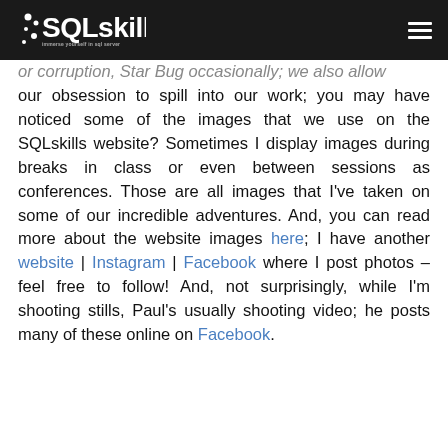SQLskills [logo] [hamburger menu]
or corruption, Star Bug occasionally; we also allow our obsession to spill into our work; you may have noticed some of the images that we use on the SQLskills website? Sometimes I display images during breaks in class or even between sessions as conferences. Those are all images that I've taken on some of our incredible adventures. And, you can read more about the website images here; I have another website | Instagram | Facebook where I post photos – feel free to follow! And, not surprisingly, while I'm shooting stills, Paul's usually shooting video; he posts many of these online on Facebook.